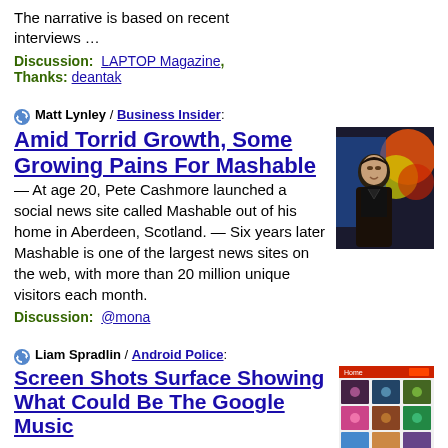The narrative is based on recent interviews …
Discussion: LAPTOP Magazine, Thanks: deantak
Matt Lynley / Business Insider:
Amid Torrid Growth, Some Growing Pains For Mashable
[Figure (photo): Photo of a young man in dark jacket against colorful background]
— At age 20, Pete Cashmore launched a social news site called Mashable out of his home in Aberdeen, Scotland. — Six years later Mashable is one of the largest news sites on the web, with more than 20 million unique visitors each month.
Discussion: @mona
Liam Spradlin / Android Police:
Screen Shots Surface Showing What Could Be The Google Music
[Figure (screenshot): Screenshot of a mobile app grid showing music thumbnails]